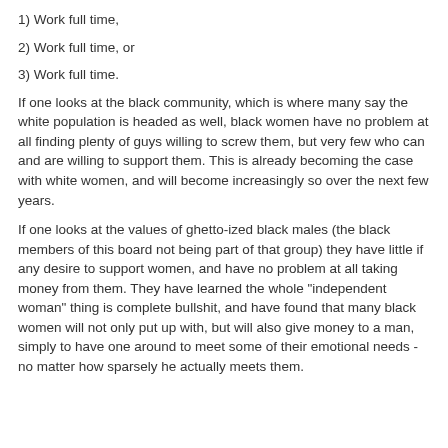1) Work full time,
2) Work full time, or
3) Work full time.
If one looks at the black community, which is where many say the white population is headed as well, black women have no problem at all finding plenty of guys willing to screw them, but very few who can and are willing to support them. This is already becoming the case with white women, and will become increasingly so over the next few years.
If one looks at the values of ghetto-ized black males (the black members of this board not being part of that group) they have little if any desire to support women, and have no problem at all taking money from them. They have learned the whole "independent woman" thing is complete bullshit, and have found that many black women will not only put up with, but will also give money to a man, simply to have one around to meet some of their emotional needs - no matter how sparsely he actually meets them.